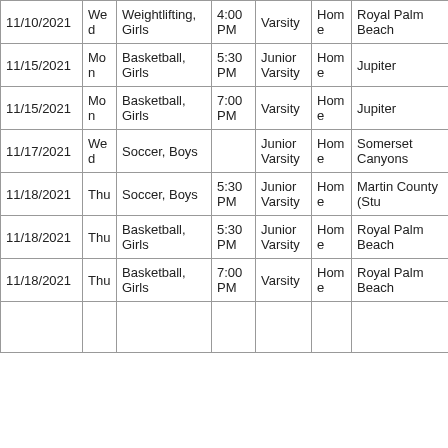| 11/10/2021 | Wed | Weightlifting, Girls | 4:00 PM | Varsity | Home | Royal Palm Beach |
| 11/15/2021 | Mon | Basketball, Girls | 5:30 PM | Junior Varsity | Home | Jupiter |
| 11/15/2021 | Mon | Basketball, Girls | 7:00 PM | Varsity | Home | Jupiter |
| 11/17/2021 | Wed | Soccer, Boys |  | Junior Varsity | Home | Somerset Canyons |
| 11/18/2021 | Thu | Soccer, Boys | 5:30 PM | Junior Varsity | Home | Martin County (Stu |
| 11/18/2021 | Thu | Basketball, Girls | 5:30 PM | Junior Varsity | Home | Royal Palm Beach |
| 11/18/2021 | Thu | Basketball, Girls | 7:00 PM | Varsity | Home | Royal Palm Beach |